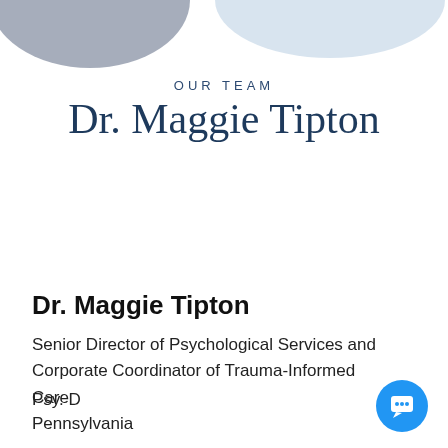[Figure (illustration): Decorative overlapping circles/blobs in muted blue and slate colors at the top of the page]
OUR TEAM
Dr. Maggie Tipton
Dr. Maggie Tipton
Senior Director of Psychological Services and Corporate Coordinator of Trauma-Informed Care
Psy. D
Pennsylvania